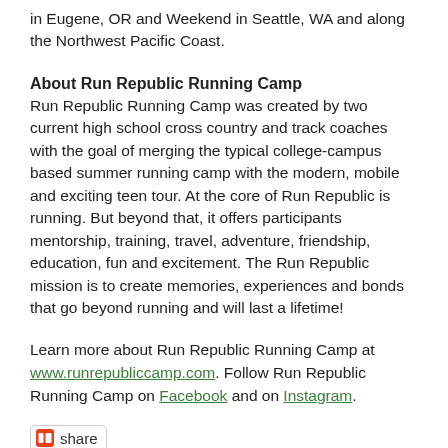in Eugene, OR and Weekend in Seattle, WA and along the Northwest Pacific Coast.
About Run Republic Running Camp
Run Republic Running Camp was created by two current high school cross country and track coaches with the goal of merging the typical college-campus based summer running camp with the modern, mobile and exciting teen tour. At the core of Run Republic is running. But beyond that, it offers participants mentorship, training, travel, adventure, friendship, education, fun and excitement. The Run Republic mission is to create memories, experiences and bonds that go beyond running and will last a lifetime!
Learn more about Run Republic Running Camp at www.runrepubliccamp.com. Follow Run Republic Running Camp on Facebook and on Instagram.
[Figure (other): Share button with a small square icon and the word 'share']